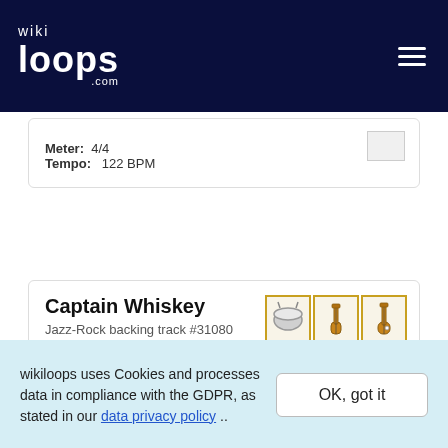wikiloops.com
Meter: 4/4
Tempo: 122 BPM
Captain Whiskey
Jazz-Rock backing track #31080
Meter: 4/4
Tempo: 70 BPM
Musical key: E minor
Sounds like: Whiskey!, Jam Em9
wikiloops uses Cookies and processes data in compliance with the GDPR, as stated in our data privacy policy ..